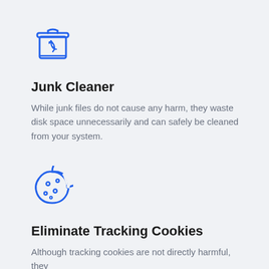[Figure (illustration): Blue outline icon of a recycling bin / trash can with a recycle symbol and an open lid on top]
Junk Cleaner
While junk files do not cause any harm, they waste disk space unnecessarily and can safely be cleaned from your system.
[Figure (illustration): Blue outline icon of a cookie with a bite taken out and dots representing chocolate chips]
Eliminate Tracking Cookies
Although tracking cookies are not directly harmful, they